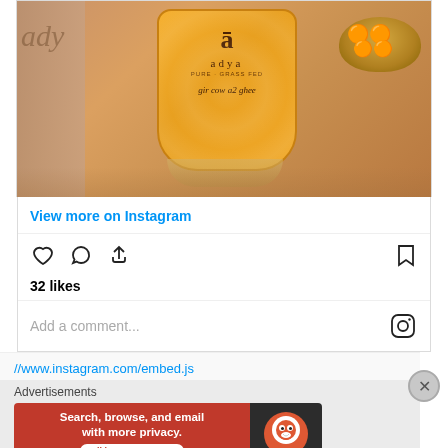[Figure (photo): Instagram embed photo of Adya brand Gir Cow A2 Ghee jar with orange label, placed on a pinkish-beige surface next to a burlap bag and a brass bowl of sweets]
View more on Instagram
[Figure (infographic): Instagram action bar with heart (like), comment, share, and bookmark icons. Shows '32 likes']
32 likes
Add a comment...
//www.instagram.com/embed.js
Advertisements
[Figure (screenshot): DuckDuckGo advertisement banner: 'Search, browse, and email with more privacy. All in One Free App' with DuckDuckGo logo on dark background]